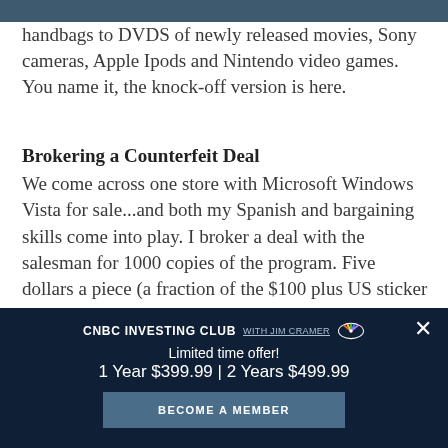handbags to DVDS of newly released movies, Sony cameras, Apple Ipods and Nintendo video games. You name it, the knock-off version is here.
Brokering a Counterfeit Deal
We come across one store with Microsoft Windows Vista for sale...and both my Spanish and bargaining skills come into play. I broker a deal with the salesman for 1000 copies of the program. Five dollars a piece (a fraction of the $100 plus US sticker price) and he'll
[Figure (infographic): CNBC Investing Club with Jim Cramer overlay advertisement. Limited time offer! 1 Year $399.99 | 2 Years $499.99. Become a Member button.]